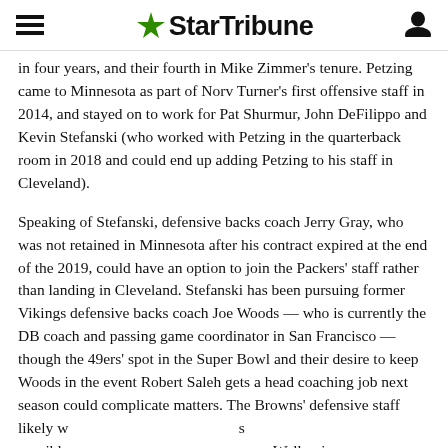StarTribune
in four years, and their fourth in Mike Zimmer's tenure. Petzing came to Minnesota as part of Norv Turner's first offensive staff in 2014, and stayed on to work for Pat Shurmur, John DeFilippo and Kevin Stefanski (who worked with Petzing in the quarterback room in 2018 and could end up adding Petzing to his staff in Cleveland).
Speaking of Stefanski, defensive backs coach Jerry Gray, who was not retained in Minnesota after his contract expired at the end of the 2019, could have an option to join the Packers' staff rather than landing in Cleveland. Stefanski has been pursuing former Vikings defensive backs coach Joe Woods — who is currently the DB coach and passing game coordinator in San Francisco — though the 49ers' spot in the Super Bowl and their desire to keep Woods in the event Robert Saleh gets a head coaching job next season could complicate matters. The Browns' defensive staff likely w                                                            s possible                                                              ne Walker i